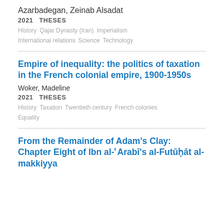Azarbadegan, Zeinab Alsadat
2021  THESES
History  Qajar Dynasty (Iran)  Imperialism  International relations  Science  Technology
Empire of inequality: the politics of taxation in the French colonial empire, 1900-1950s
Woker, Madeline
2021  THESES
History  Taxation  Twentieth century  French colonies  Equality
From the Remainder of Adam’s Clay: Chapter Eight of Ibn al-ʿArabī’s al-Futūḥāt al-makkiyya